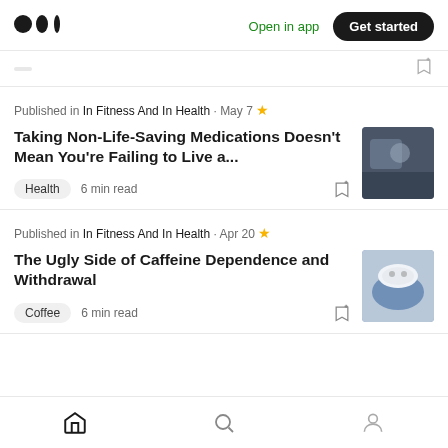Medium logo | Open in app | Get started
Published in In Fitness And In Health · May 7 ★
Taking Non-Life-Saving Medications Doesn't Mean You're Failing to Live a...
Health  6 min read
Published in In Fitness And In Health · Apr 20 ★
The Ugly Side of Caffeine Dependence and Withdrawal
Coffee  6 min read